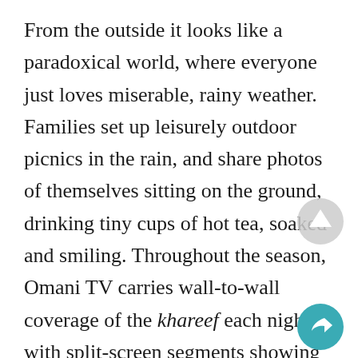From the outside it looks like a paradoxical world, where everyone just loves miserable, rainy weather. Families set up leisurely outdoor picnics in the rain, and share photos of themselves sitting on the ground, drinking tiny cups of hot tea, soaked and smiling. Throughout the season, Omani TV carries wall-to-wall coverage of the khareef each night, with split-screen segments showing a series of cloudy, foggy hillsides and shorelines set to traditional music.

Adding to spectacle of the khareef are the cultural festivals, which showcase